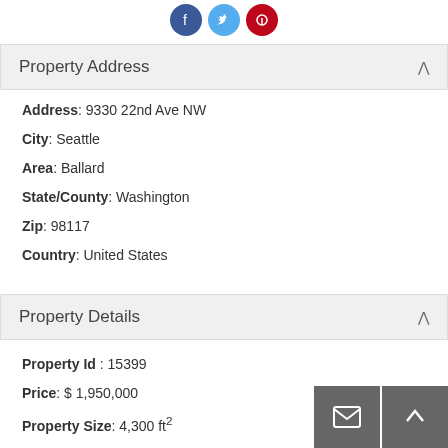[Figure (other): Social media icons: Facebook (blue), Twitter (light blue), Pinterest (red)]
Property Address
Address: 9330 22nd Ave NW
City: Seattle
Area: Ballard
State/County: Washington
Zip: 98117
Country: United States
Property Details
Property Id : 15399
Price: $ 1,950,000
Property Size: 4,300 ft²
Property Lot Size: 4,065 ft² (partially visible)